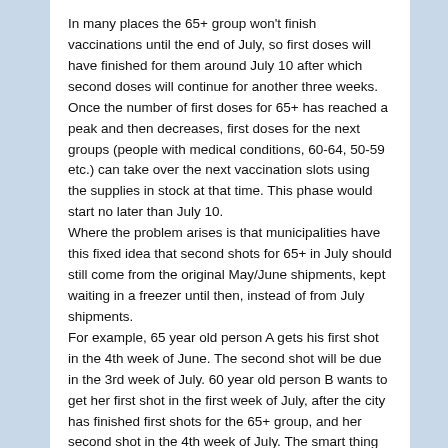In many places the 65+ group won't finish vaccinations until the end of July, so first doses will have finished for them around July 10 after which second doses will continue for another three weeks. Once the number of first doses for 65+ has reached a peak and then decreases, first doses for the next groups (people with medical conditions, 60-64, 50-59 etc.) can take over the next vaccination slots using the supplies in stock at that time. This phase would start no later than July 10.
Where the problem arises is that municipalities have this fixed idea that second shots for 65+ in July should still come from the original May/June shipments, kept waiting in a freezer until then, instead of from July shipments.
For example, 65 year old person A gets his first shot in the 4th week of June. The second shot will be due in the 3rd week of July. 60 year old person B wants to get her first shot in the first week of July, after the city has finished first shots for the 65+ group, and her second shot in the 4th week of July. The smart thing would be to let person B go